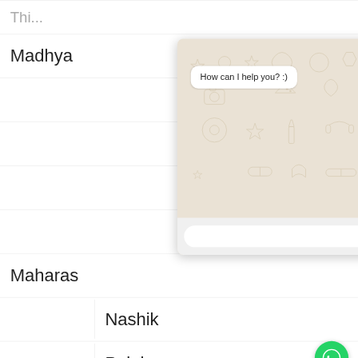[Figure (screenshot): WhatsApp chat popup overlay showing 'How can I help you? :)' message bubble on decorative WA background pattern, with text input field and send button at the bottom, and a close (X) button at top right. Underlying list shows state/city rows including Madhya Pradesh and Maharashtra with cities Nashik and Palghar visible.]
Madhya
Maharas
How can I help you? :)
Nashik
Palghar